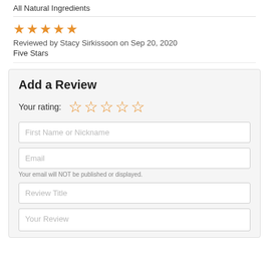All Natural Ingredients
Reviewed by Stacy Sirkissoon on Sep 20, 2020
Five Stars
Add a Review
Your rating:
First Name or Nickname
Email
Your email will NOT be published or displayed.
Review Title
Your Review